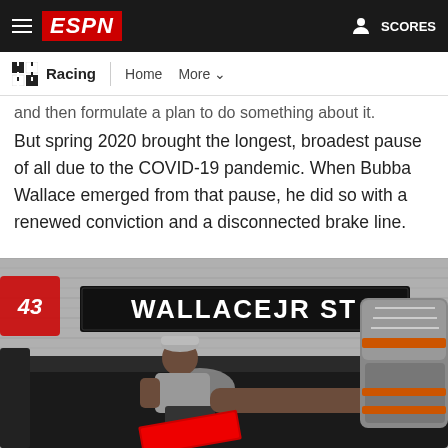ESPN — Racing | Home More
and then formulate a plan to do something about it.
But spring 2020 brought the longest, broadest pause of all due to the COVID-19 pandemic. When Bubba Wallace emerged from that pause, he did so with a renewed conviction and a disconnected brake line.
[Figure (photo): Bubba Wallace reclining on a black leather couch with feet up, wearing a grey t-shirt and shorts and sneakers. Behind him is a street sign reading 'WALLACEJR ST'.]